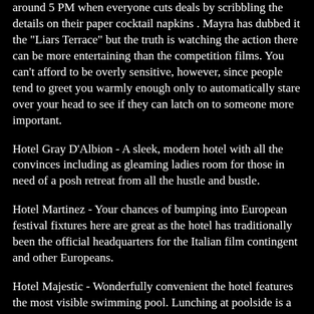around 5 PM when everyone cuts deals by scribbling the details on their paper cocktail napkins . Mayra has dubbed it the "Liars Terrace" but the truth is watching the action there can be more entertaining than the competition films. You can't afford to be overly sensitive, however, since people tend to greet you warmly enough only to automatically stare over your head to see if they can latch on to someone more important.
Hotel Gray D'Albion - A sleek, modern hotel with all the convinces including as gleaming ladies room for those in need of a posh retreat from all the hustle and bustle.
Hotel Martinez - Your chances of bumping into European festival fixtures here are great as the hotel has traditionally been the official headquarters for the Italian film contingent and other Europeans.
Hotel Majestic - Wonderfully convenient the hotel features the most visible swimming pool. Lunching at poolside is a Cannes tradition for such regulars as indy producer Ben Barenholtz who, last year, could be seen sharing a much prized poolside table with the star of his then future movie - Jennifer Jason Leigh. For years Cannes regulars used to measure the annual inflation rate by checking the price of a poolside charcoal grilled hamburger which, at last count, was well over $40. Journalists in search of screening and party invitations and interview possibilities will be even more